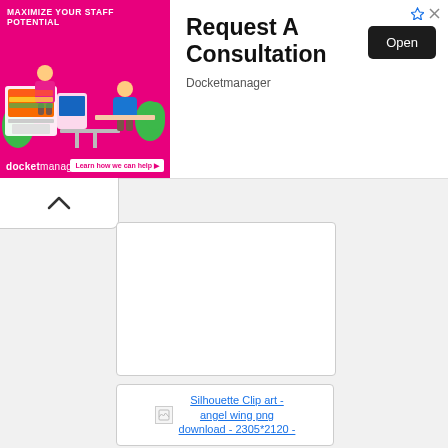[Figure (screenshot): Advertisement banner for Docketmanager showing 'Maximize Your Staff Potential' with illustration on pink background on the left, and 'Request A Consultation' text with an Open button on the right]
Request A Consultation
Docketmanager
[Figure (screenshot): Collapse/chevron up button area in white panel below ad banner]
[Figure (screenshot): Blank white content card with border]
[Figure (screenshot): Thumbnail card with broken image icon and link text: Silhouette Clip art - angel wing png download - 2305*2120 -]